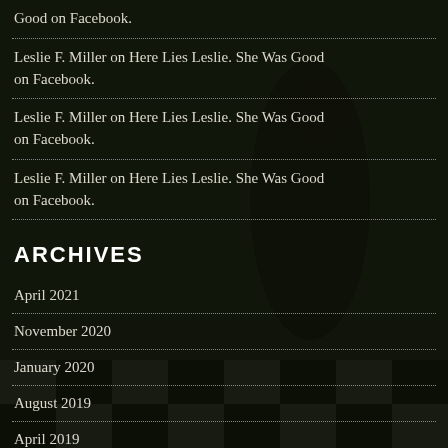Good on Facebook.
Leslie F. Miller on Here Lies Leslie. She Was Good on Facebook.
Leslie F. Miller on Here Lies Leslie. She Was Good on Facebook.
Leslie F. Miller on Here Lies Leslie. She Was Good on Facebook.
ARCHIVES
April 2021
November 2020
January 2020
August 2019
April 2019